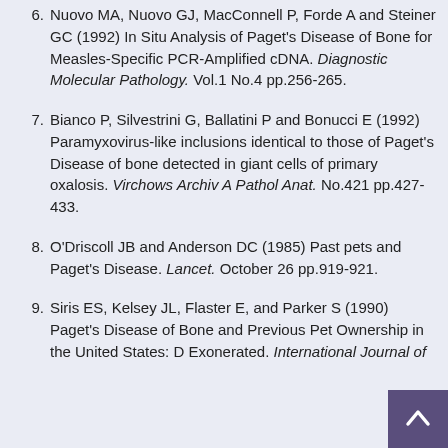6. Nuovo MA, Nuovo GJ, MacConnell P, Forde A and Steiner GC (1992) In Situ Analysis of Paget's Disease of Bone for Measles-Specific PCR-Amplified cDNA. Diagnostic Molecular Pathology. Vol.1 No.4 pp.256-265.
7. Bianco P, Silvestrini G, Ballatini P and Bonucci E (1992) Paramyxovirus-like inclusions identical to those of Paget's Disease of bone detected in giant cells of primary oxalosis. Virchows Archiv A Pathol Anat. No.421 pp.427-433.
8. O'Driscoll JB and Anderson DC (1985) Past pets and Paget's Disease. Lancet. October 26 pp.919-921.
9. Siris ES, Kelsey JL, Flaster E, and Parker S (1990) Paget's Disease of Bone and Previous Pet Ownership in the United States: D Exonerated. International Journal of